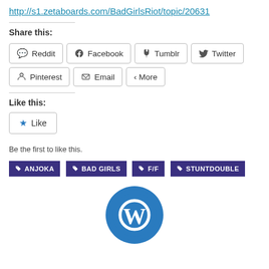http://s1.zetaboards.com/BadGirlsRiot/topic/20631
Share this:
[Figure (other): Social share buttons: Reddit, Facebook, Tumblr, Twitter, Pinterest, Email, More]
Like this:
[Figure (other): Like button with star icon]
Be the first to like this.
ANJOKA
BAD GIRLS
F/F
STUNTDOUBLE
[Figure (logo): WordPress circular logo in blue and white, partially visible at bottom]